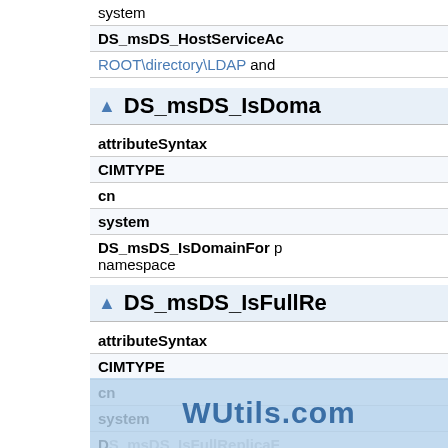system
DS_msDS_HostServiceAc
ROOT\directory\LDAP and
DS_msDS_IsDoma
| Property | Value |
| --- | --- |
| attributeSyntax |  |
| CIMTYPE |  |
| cn |  |
| system |  |
| DS_msDS_IsDomainFor | p namespace |
DS_msDS_IsFullRe
| Property | Value |
| --- | --- |
| attributeSyntax |  |
| CIMTYPE |  |
| cn |  |
| system |  |
| DS_msDS_IsFullReplicaF |  |
| ir |  |